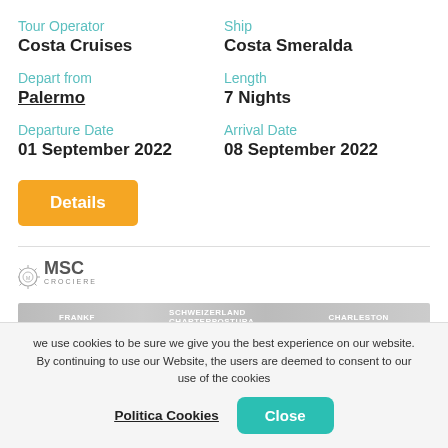Tour Operator
Costa Cruises
Ship
Costa Smeralda
Depart from
Palermo
Length
7 Nights
Departure Date
01 September 2022
Arrival Date
08 September 2022
Details
[Figure (logo): MSC Crociere logo]
[Figure (screenshot): Gray banner with white text: FRANKF, SCHWEIZERLAND, CHARLESTON]
we use cookies to be sure we give you the best experience on our website. By continuing to use our Website, the users are deemed to consent to our use of the cookies
Politica Cookies
Close